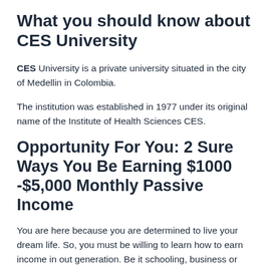What you should know about CES University
CES University is a private university situated in the city of Medellin in Colombia.
The institution was established in 1977 under its original name of the Institute of Health Sciences CES.
Opportunity For You: 2 Sure Ways You Be Earning $1000 -$5,000 Monthly Passive Income
You are here because you are determined to live your dream life. So, you must be willing to learn how to earn income in out generation. Be it schooling, business or